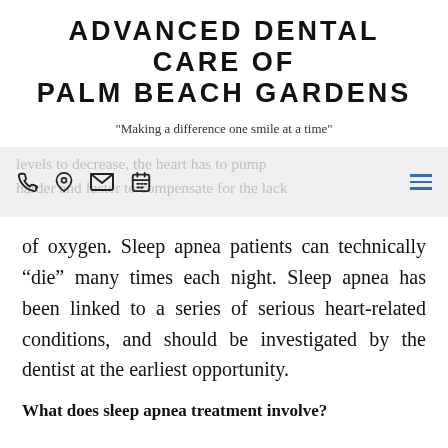ADVANCED DENTAL CARE OF PALM BEACH GARDENS
"Making a difference one smile at a time"
[Figure (other): Navigation bar with phone, location, email, calendar icons on left and hamburger menu on right, with ghost text reading 'levels to decrease, the heart has to pump harder and faster to compensate for the lack']
of oxygen. Sleep apnea patients can technically “die” many times each night. Sleep apnea has been linked to a series of serious heart-related conditions, and should be investigated by the dentist at the earliest opportunity.
What does sleep apnea treatment involve?